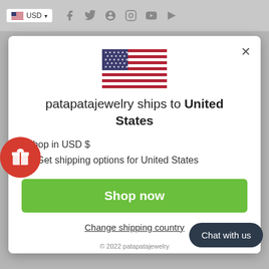[Figure (screenshot): Background website header showing USD currency selector and social media icons on a gray background]
[Figure (screenshot): Modal dialog showing US flag, shipping destination message, options to shop in USD and get shipping options for United States, a green Shop now button, and a Change shipping country link]
patapatajewelry ships to United States
Shop in USD $
Get shipping options for United States
Shop now
Change shipping country
© 2022 patapatajewelry